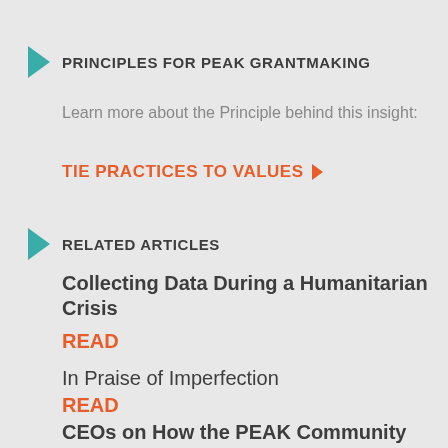PRINCIPLES FOR PEAK GRANTMAKING
Learn more about the Principle behind this insight:
TIE PRACTICES TO VALUES ▶
RELATED ARTICLES
Collecting Data During a Humanitarian Crisis
READ
In Praise of Imperfection
READ
CEOs on How the PEAK Community